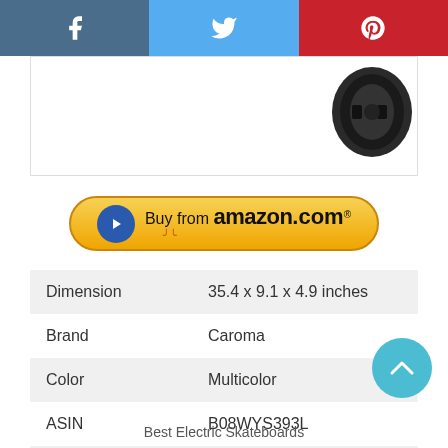[Figure (screenshot): Social media share bar with Facebook, Twitter, and Pinterest buttons]
[Figure (photo): Partial product image of a skateboard accessory component in the upper right]
[Figure (other): Buy from amazon.com yellow button with play icon]
| Dimension | 35.4 x 9.1 x 4.9 inches |
| Brand | Caroma |
| Color | Multicolor |
| ASIN | B08WYS393L |
| Material | Maple |
Best Electric Skateboards